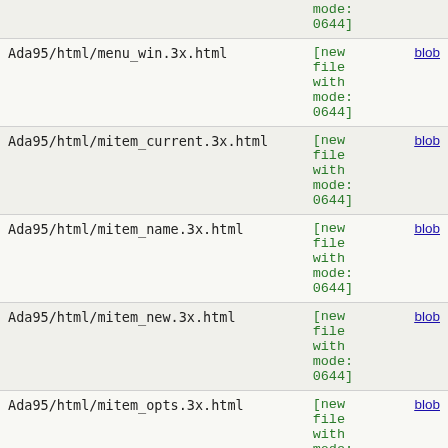| filename | status | action |
| --- | --- | --- |
| Ada95/html/menu_win.3x.html | [new file with mode: 0644] | blob |
| Ada95/html/mitem_current.3x.html | [new file with mode: 0644] | blob |
| Ada95/html/mitem_name.3x.html | [new file with mode: 0644] | blob |
| Ada95/html/mitem_new.3x.html | [new file with mode: 0644] | blob |
| Ada95/html/mitem_opts.3x.html | [new file with mode: 0644] | blob |
| Ada95/html/mitem_userptr.3x.html | [new file with mode: 0644] | blob |